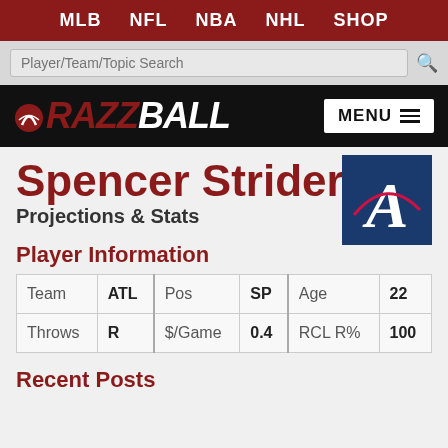MLB  NFL  NBA  NHL  SHOP
[Figure (logo): Razzball sports fantasy website logo with baseball icon]
Spencer Strider
Projections & Stats
[Figure (logo): Atlanta Braves team logo - blue background with cursive white A]
Player Information
| Team | ATL | Pos | SP | Age | 22 |
| Throws | R | $/Game | 0.4 | RCL R% | 100 |
Recent Posts